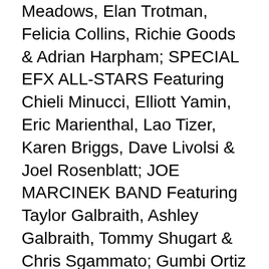Meadows, Elan Trotman, Felicia Collins, Richie Goods & Adrian Harpham; SPECIAL EFX ALL-STARS Featuring Chieli Minucci, Elliott Yamin, Eric Marienthal, Lao Tizer, Karen Briggs, Dave Livolsi & Joel Rosenblatt; JOE MARCINEK BAND Featuring Taylor Galbraith, Ashley Galbraith, Tommy Shugart & Chris Sgammato; Gumbi Ortiz & Electric Rendezvous; Lemon City Trio; Gloria West & The Gents “The Last Hurrah”; Ariella; and Clearwater Jazz Holiday / Ruth Eckerd Hall Youth Jazz Band!
As the City of Clearwater builds Clearwater Jazz Holiday’s new Imagine Clearwater home in Coachman Park, Clearwater Jazz Holiday, the City of Clearwater, and the Clearwater Threshers/Phillies Florida are teaming up for a special 42nd annual Clearwater Jazz Holiday presentation at BayCare Ballpark...